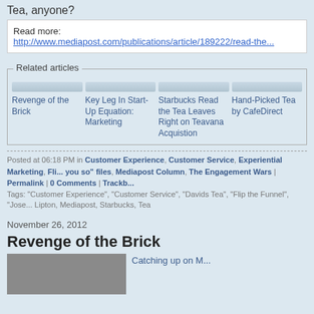Tea, anyone?
Read more: http://www.mediapost.com/publications/article/189222/read-the...
Related articles
Revenge of the Brick
Key Leg In Start-Up Equation: Marketing
Starbucks Read the Tea Leaves Right on Teavana Acquistion
Hand-Picked Tea by CafeDirect
Posted at 06:18 PM in Customer Experience, Customer Service, Experiential Marketing, Fli... you so" files, Mediapost Column, The Engagement Wars | Permalink | 0 Comments | Trackb...
Tags: "Customer Experience", "Customer Service", "Davids Tea", "Flip the Funnel", "Jose... Lipton, Mediapost, Starbucks, Tea
November 26, 2012
Revenge of the Brick
Catching up on M...